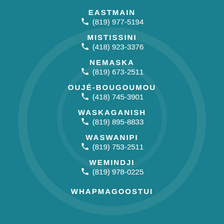EASTMAIN
(819) 977-5194
MISTISSINI
(418) 923-3376
NEMASKA
(819) 673-2511
OUJÉ-BOUGOUMOU
(418) 745-3901
WASKAGANISH
(819) 895-8833
WASWANIPI
(819) 753-2511
WEMINDJI
(819) 978-0225
WHAPMAGOOSTUI